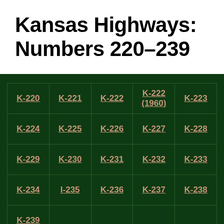Kansas Highways: Numbers 220-239
| K-220 | K-221 | K-222 | K-222 (1960) | K-223 |
| K-224 | K-225 | K-226 | K-227 | K-228 |
| K-229 | K-230 | K-231 | K-232 | K-233 |
| K-234 | I-235 | K-236 | K-237 | K-238 |
| K-239 |  |  |  |  |